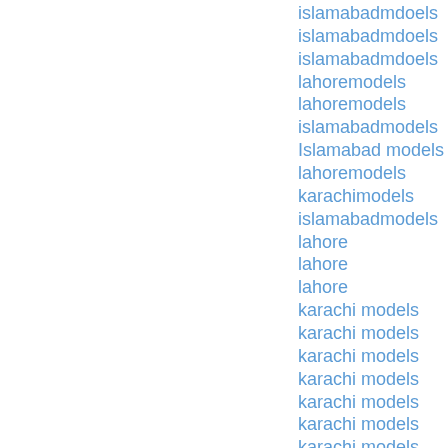islamabadmdoels
islamabadmdoels
islamabadmdoels
lahoremodels
lahoremodels
islamabadmodels
Islamabad models
lahoremodels
karachimodels
islamabadmodels
lahore
lahore
lahore
karachi models
karachi models
karachi models
karachi models
karachi models
karachi models
karachi models
karachi models
karachi models